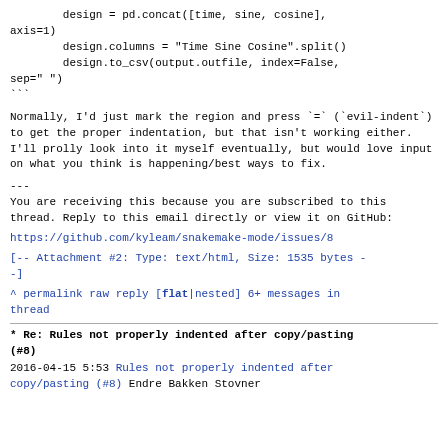design = pd.concat([time, sine, cosine], axis=1)
        design.columns = "Time Sine Cosine".split()
        design.to_csv(output.outfile, index=False, sep=" ")
```
Normally, I'd just mark the region and press `=` (`evil-indent`) to get the proper indentation, but that isn't working either. I'll prolly look into it myself eventually, but would love input on what you think is happening/best ways to fix.
---
You are receiving this because you are subscribed to this thread.
Reply to this email directly or view it on GitHub:
https://github.com/kyleam/snakemake-mode/issues/8
[-- Attachment #2: Type: text/html, Size: 1535 bytes --]
^ permalink raw reply   [flat|nested] 6+ messages in thread
* Re: Rules not properly indented after copy/pasting (#8)
2016-04-15  5:53 Rules not properly indented after copy/pasting (#8) Endre Bakken Stovner